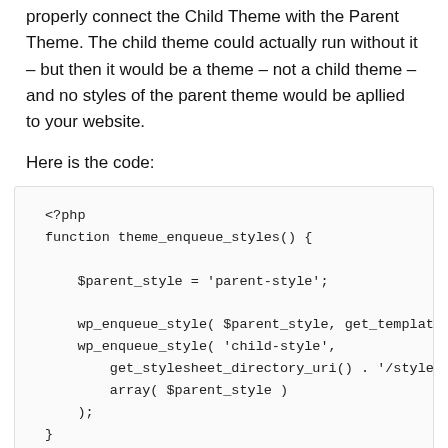properly connect the Child Theme with the Parent Theme. The child theme could actually run without it – but then it would be a theme – not a child theme – and no styles of the parent theme would be apllied to your website.
Here is the code:
<?php
function theme_enqueue_styles() {

    $parent_style = 'parent-style';

    wp_enqueue_style( $parent_style, get_template_di
    wp_enqueue_style( 'child-style',
        get_stylesheet_directory_uri() . '/style.css
        array( $parent_style )
    );
}
add_action( 'wp_enqueue_scripts', 'theme_enqueue_sty
?>